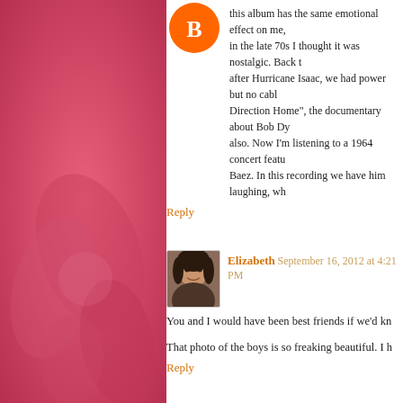[Figure (photo): Pink decorative floral background on left sidebar]
[Figure (logo): Blogger default avatar icon (blue circle with B)]
this album has the same emotional effect on me, in the late 70s I thought it was nostalgic. Back t after Hurricane Isaac, we had power but no cabl Direction Home", the documentary about Bob Dy also. Now I'm listening to a 1964 concert featu Baez. In this recording we have him laughing, wh
Reply
[Figure (photo): Profile photo of Elizabeth - woman with dark hair]
Elizabeth September 16, 2012 at 4:21 PM
You and I would have been best friends if we'd kn
That photo of the boys is so freaking beautiful. I h
Reply
[Figure (photo): Profile photo of Nancy - person with short hair]
Nancy September 16, 2012 at 4:58 PM
And now I feel bad for “not knowin nothin” abo recognition). Now I'm headin over to YouTube. I b